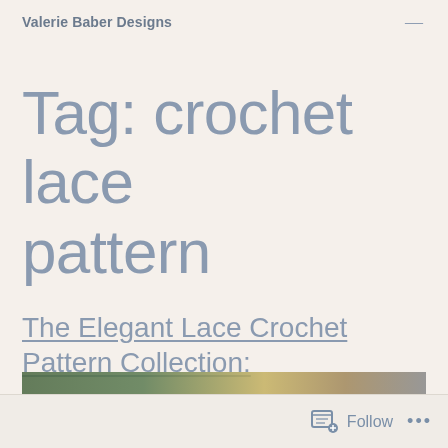Valerie Baber Designs
Tag: crochet lace pattern
The Elegant Lace Crochet Pattern Collection:
[Figure (photo): Partial view of a book or product image strip at bottom of page]
Follow ...